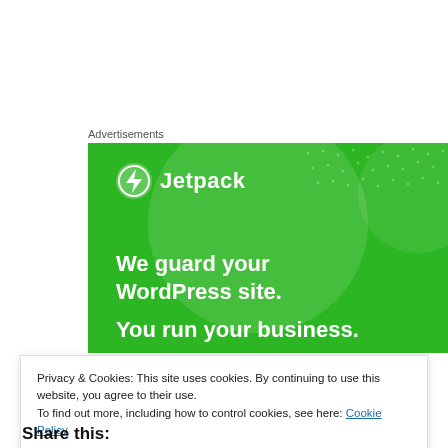Advertisements
[Figure (illustration): Jetpack advertisement banner with green background. Shows Jetpack logo (lightning bolt in circle) and text: 'We guard your WordPress site. You run your business.']
Privacy & Cookies: This site uses cookies. By continuing to use this website, you agree to their use.
To find out more, including how to control cookies, see here: Cookie Policy
Close and accept
Share this: